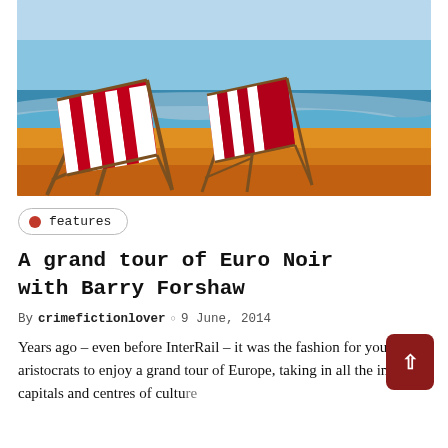[Figure (illustration): Book cover illustration for 'An Inspector Montalbano Mystery' showing two red and white striped deck chairs on a sandy beach with blue sea in the background.]
features
A grand tour of Euro Noir with Barry Forshaw
By crimefictionlover ○ 9 June, 2014
Years ago – even before InterRail – it was the fashion for young aristocrats to enjoy a grand tour of Europe, taking in all the imperial capitals and centres of culture...